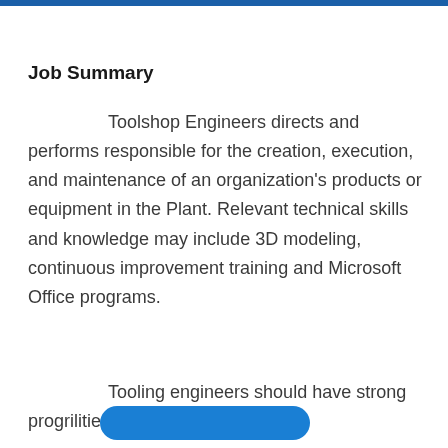Job Summary
Toolshop Engineers directs and performs responsible for the creation, execution, and maintenance of an organization's products or equipment in the Plant. Relevant technical skills and knowledge may include 3D modeling, continuous improvement training and Microsoft Office programs.
Tooling engineers should have strong progr…ilities in